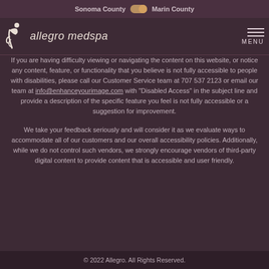Sonoma County  [toggle]  Marin County
[Figure (logo): Allegro Medspa logo with stylized figure and text 'allegro medspa']
If you are having difficulty viewing or navigating the content on this website, or notice any content, feature, or functionality that you believe is not fully accessible to people with disabilities, please call our Customer Service team at 707 537 2123 or email our team at info@enhanceyourimage.com with "Disabled Access" in the subject line and provide a description of the specific feature you feel is not fully accessible or a suggestion for improvement.
We take your feedback seriously and will consider it as we evaluate ways to accommodate all of our customers and our overall accessibility policies. Additionally, while we do not control such vendors, we strongly encourage vendors of third-party digital content to provide content that is accessible and user friendly.
© 2022 Allegro. All Rights Reserved.